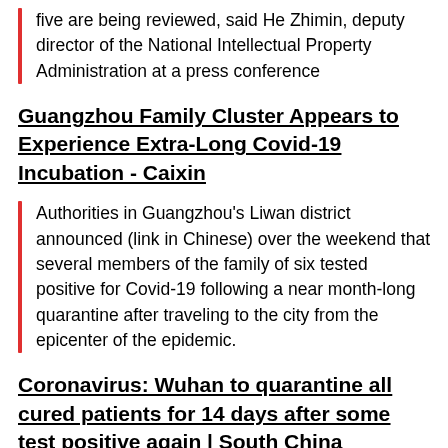five are being reviewed, said He Zhimin, deputy director of the National Intellectual Property Administration at a press conference
Guangzhou Family Cluster Appears to Experience Extra-Long Covid-19 Incubation - Caixin
Authorities in Guangzhou's Liwan district announced (link in Chinese) over the weekend that several members of the family of six tested positive for Covid-19 following a near month-long quarantine after traveling to the city from the epicenter of the epidemic.
Coronavirus: Wuhan to quarantine all cured patients for 14 days after some test positive again | South China Morning Post